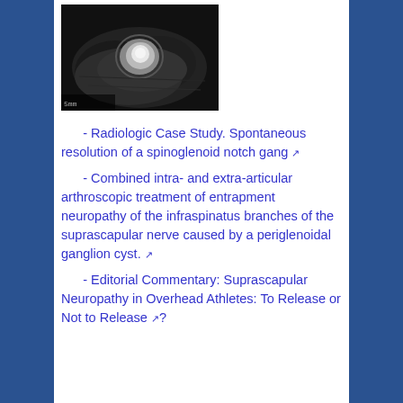[Figure (photo): MRI scan image, grayscale, showing shoulder/joint cross-section with bright structure in center]
- Radiologic Case Study. Spontaneous resolution of a spinoglenoid notch gang [external link]
- Combined intra- and extra-articular arthroscopic treatment of entrapment neuropathy of the infraspinatus branches of the suprascapular nerve caused by a periglenoidal ganglion cyst. [external link]
- Editorial Commentary: Suprascapular Neuropathy in Overhead Athletes: To Release or Not to Release [external link]?